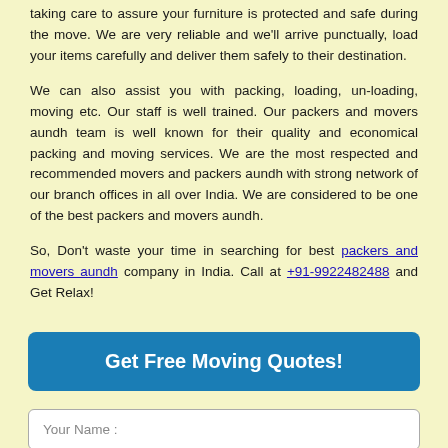taking care to assure your furniture is protected and safe during the move. We are very reliable and we'll arrive punctually, load your items carefully and deliver them safely to their destination.
We can also assist you with packing, loading, un-loading, moving etc. Our staff is well trained. Our packers and movers aundh team is well known for their quality and economical packing and moving services. We are the most respected and recommended movers and packers aundh with strong network of our branch offices in all over India. We are considered to be one of the best packers and movers aundh.
So, Don't waste your time in searching for best packers and movers aundh company in India. Call at +91-9922482488 and Get Relax!
Get Free Moving Quotes!
Your Name :